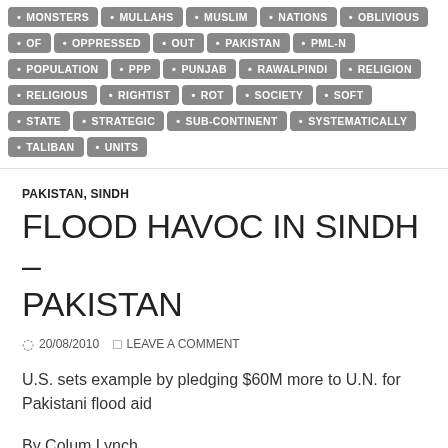MONSTERS • MULLAHS • MUSLIM • NATIONS • OBLIVIOUS • OF • OPPRESSED • OUT • PAKISTAN • PML-N • POPULATION • PPP • PUNJAB • RAWALPINDI • RELIGION • RELIGIOUS • RIGHTIST • ROT • SOCIETY • SOFT • STATE • STRATEGIC • SUB-CONTINENT • SYSTEMATICALLY • TALIBAN • UNITS
PAKISTAN, SINDH
FLOOD HAVOC IN SINDH – PAKISTAN
20/08/2010  LEAVE A COMMENT
U.S. sets example by pledging $60M more to U.N. for Pakistani flood aid
By Colum Lynch